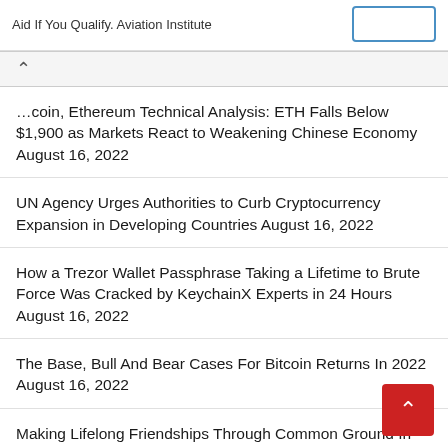Aid If You Qualify. Aviation Institute
Bitcoin, Ethereum Technical Analysis: ETH Falls Below $1,900 as Markets React to Weakening Chinese Economy August 16, 2022
UN Agency Urges Authorities to Curb Cryptocurrency Expansion in Developing Countries August 16, 2022
How a Trezor Wallet Passphrase Taking a Lifetime to Brute Force Was Cracked by KeychainX Experts in 24 Hours August 16, 2022
The Base, Bull And Bear Cases For Bitcoin Returns In 2022 August 16, 2022
Making Lifelong Friendships Through Common Ground In Bitcoin August 16, 2022